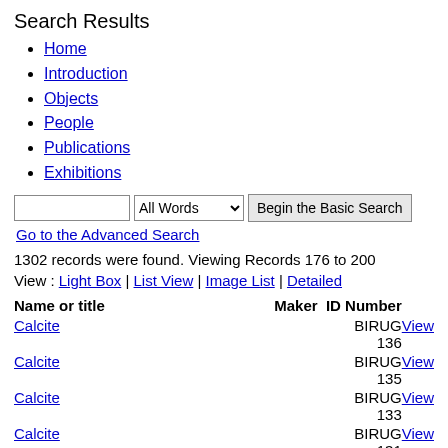Search Results
Home
Introduction
Objects
People
Publications
Exhibitions
1302 records were found. Viewing Records 176 to 200
View : Light Box | List View | Image List | Detailed
| Name or title | Maker | ID Number |  |
| --- | --- | --- | --- |
| Calcite |  | BIRUG 136 | View |
| Calcite |  | BIRUG 135 | View |
| Calcite |  | BIRUG 133 | View |
| Calcite |  | BIRUG 131 | View |
| Calcite & Fluorite |  | BIRUG 105 | View |
| Calcite & Quartz |  | BIRUG 662 | View |
| Calcite on quartz |  | BIRUG | View |